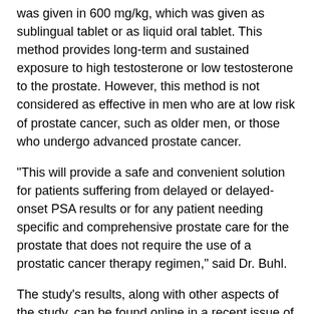was given in 600 mg/kg, which was given as sublingual tablet or as liquid oral tablet. This method provides long-term and sustained exposure to high testosterone or low testosterone to the prostate. However, this method is not considered as effective in men who are at low risk of prostate cancer, such as older men, or those who undergo advanced prostate cancer.
"This will provide a safe and convenient solution for patients suffering from delayed or delayed-onset PSA results or for any patient needing specific and comprehensive prostate care for the prostate that does not require the use of a prostatic cancer therapy regimen," said Dr. Buhl.
The study's results, along with other aspects of the study, can be found online in a recent issue of Clinical Nutrition & Metabolism and are also available on the website for the